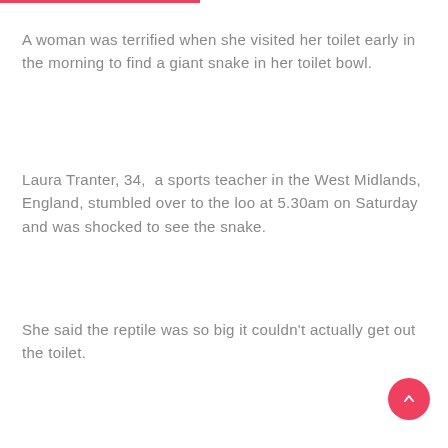A woman was terrified when she visited her toilet early in the morning to find a giant snake in her toilet bowl.
Laura Tranter, 34,  a sports teacher in the West Midlands, England, stumbled over to the loo at 5.30am on Saturday and was shocked to see the snake.
She said the reptile was so big it couldn't actually get out the toilet.